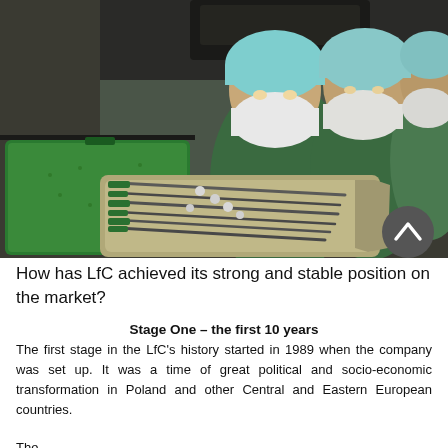[Figure (photo): Photo of surgical team (three surgeons in green scrubs, surgical caps, and white face masks) looking down at a surgical instrument tray with a green lid in the foreground]
How has LfC achieved its strong and stable position on the market?
Stage One – the first 10 years
The first stage in the LfC's history started in 1989 when the company was set up. It was a time of great political and socio-economic transformation in Poland and other Central and Eastern European countries.
The first line appears to be cut off at the bottom of the page.